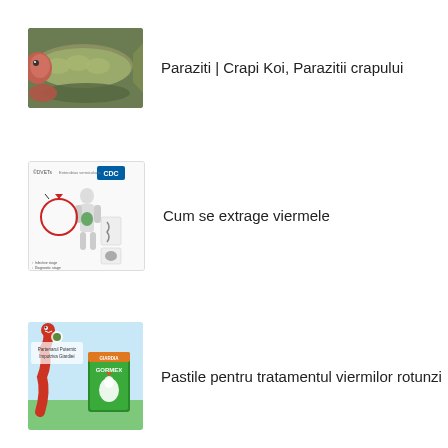[Figure (photo): Photo of fish (carp/koi), showing two fish close up with scales and red coloring visible]
Paraziti | Crapi Koi, Parazitii crapului
[Figure (illustration): CDC parasitology lifecycle diagram showing a human silhouette with digestive system highlighted, roundworm lifecycle arrows, and worm images. Logos: DIVETS and CDC.]
Cum se extrage viermele
[Figure (illustration): Product image showing a cartoon red worm on grass, medicine packaging labeled Giardia and GORMEX, with a rooster graphic. Text: Partenarul Puternic Impotriva Giardiei.]
Pastile pentru tratamentul viermilor rotunzi